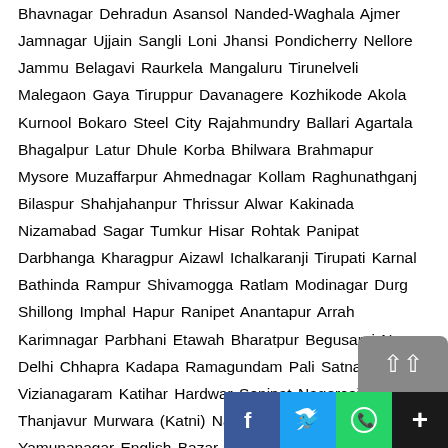Bhavnagar Dehradun Asansol Nanded-Waghala Ajmer Jamnagar Ujjain Sangli Loni Jhansi Pondicherry Nellore Jammu Belagavi Raurkela Mangaluru Tirunelveli Malegaon Gaya Tiruppur Davanagere Kozhikode Akola Kurnool Bokaro Steel City Rajahmundry Ballari Agartala Bhagalpur Latur Dhule Korba Bhilwara Brahmapur Mysore Muzaffarpur Ahmednagar Kollam Raghunathganj Bilaspur Shahjahanpur Thrissur Alwar Kakinada Nizamabad Sagar Tumkur Hisar Rohtak Panipat Darbhanga Kharagpur Aizawl Ichalkaranji Tirupati Karnal Bathinda Rampur Shivamogga Ratlam Modinagar Durg Shillong Imphal Hapur Ranipet Anantapur Arrah Karimnagar Parbhani Etawah Bharatpur Begusarai New Delhi Chhapra Kadapa Ramagundam Pali Satna Vizianagaram Katihar Hardwar Sonipat Nagercoil Thanjavur Murwara (Katni) Naihati Sambhal Nadiad Yamunanagar English Bazar Eluru Munger Panchkula Raayachuru Panvel Deoghar Ongole Nand Mo... Raayachuru Dol Aboel Asupol Doneis Dolan...